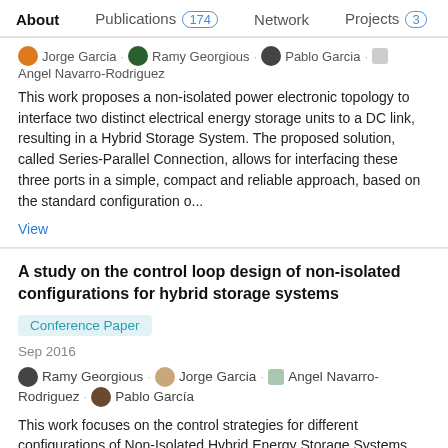About | Publications 174 | Network | Projects 3
Jorge Garcia · Ramy Georgious · Pablo Garcia · Angel Navarro-Rodriguez
This work proposes a non-isolated power electronic topology to interface two distinct electrical energy storage units to a DC link, resulting in a Hybrid Storage System. The proposed solution, called Series-Parallel Connection, allows for interfacing these three ports in a simple, compact and reliable approach, based on the standard configuration o...
View
A study on the control loop design of non-isolated configurations for hybrid storage systems
Conference Paper
Sep 2016
Ramy Georgious · Jorge Garcia · Angel Navarro-Rodriguez · Pablo García
This work focuses on the control strategies for different configurations of Non-Isolated Hybrid Energy Storage Systems.